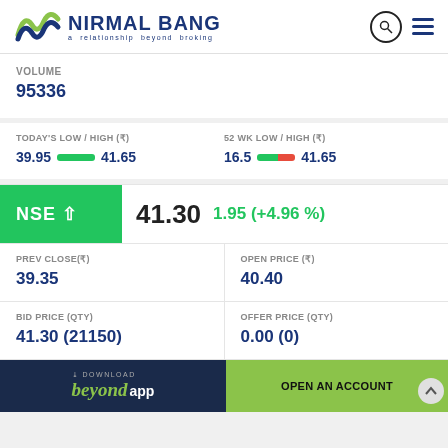NIRMAL BANG a relationship beyond broking
VOLUME
95336
TODAY'S LOW / HIGH (₹)
39.95   41.65
52 WK LOW / HIGH (₹)
16.5   41.65
NSE ↑ 41.30  1.95 (+4.96 %)
| PREV CLOSE(₹) | OPEN PRICE (₹) |
| --- | --- |
| 39.35 | 40.40 |
| BID PRICE (QTY) | OFFER PRICE (QTY) |
| --- | --- |
| 41.30 (21150) | 0.00 (0) |